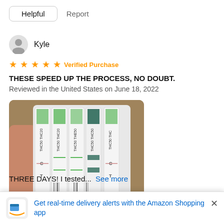Helpful   Report
Kyle
★★★★★ Verified Purchase
THESE SPEED UP THE PROCESS, NO DOUBT.
Reviewed in the United States on June 18, 2022
[Figure (photo): Photo of drug test strips held in hand, showing C and T line results]
LISTEN UP, these do in fact work like a charm. I was a heavy
Get real-time delivery alerts with the Amazon Shopping app
THREE DAYS! I tested...   See more